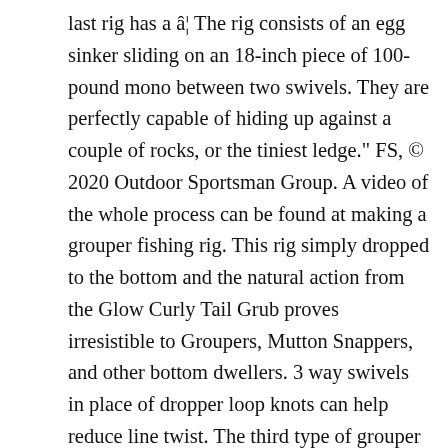last rig has a â¦ The rig consists of an egg sinker sliding on an 18-inch piece of 100-pound mono between two swivels. They are perfectly capable of hiding up against a couple of rocks, or the tiniest ledge." FS, © 2020 Outdoor Sportsman Group. A video of the whole process can be found at making a grouper fishing rig. This rig simply dropped to the bottom and the natural action from the Glow Curly Tail Grub proves irresistible to Groupers, Mutton Snappers, and other bottom dwellers. 3 way swivels in place of dropper loop knots can help reduce line twist. The third type of grouper rig is the sliding sinker rig, this is when the egg sinker is placed on your main line and can slide freely, when a fish strikes, there is no resistance. Try to use a reel that can handle between 50 and 100-pound test line. The weight, usually a bank sinker, is connected to the third â¦ If the bait is pinned to the weight, he doesn't look natural. Three-Way Swivel Rig : This is a good rig to use with weights heavier than